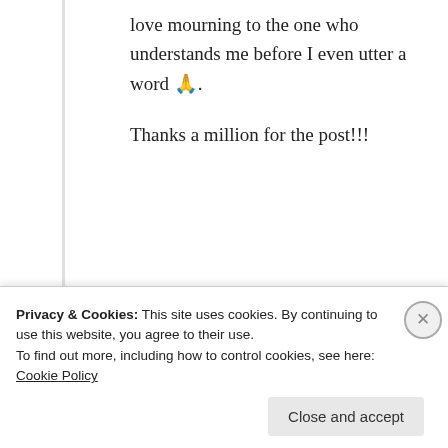love mourning to the one who understands me before I even utter a word 🙏.
Thanks a million for the post!!!
★ Liked by 4 people
Log in to Reply
Suma Reddy
Privacy & Cookies: This site uses cookies. By continuing to use this website, you agree to their use. To find out more, including how to control cookies, see here: Cookie Policy